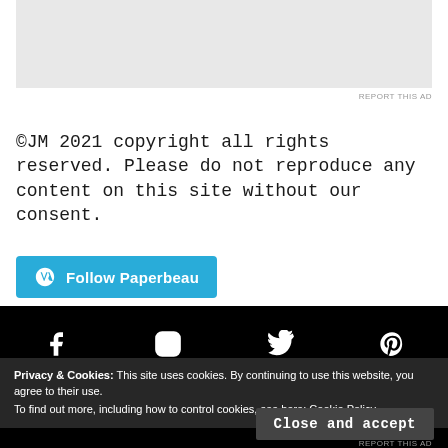[Figure (other): Gray advertisement placeholder box]
REPORT THIS AD
©JM 2021 copyright all rights reserved. Please do not reproduce any content on this site without our consent.
[Figure (other): Follow Paperbeau button with WordPress icon]
[Figure (other): Black footer bar with social media icons: Facebook, Instagram, Twitter, Pinterest]
Privacy & Cookies: This site uses cookies. By continuing to use this website, you agree to their use.
To find out more, including how to control cookies, see here: Cookie Policy
Close and accept
REPORT THIS AD